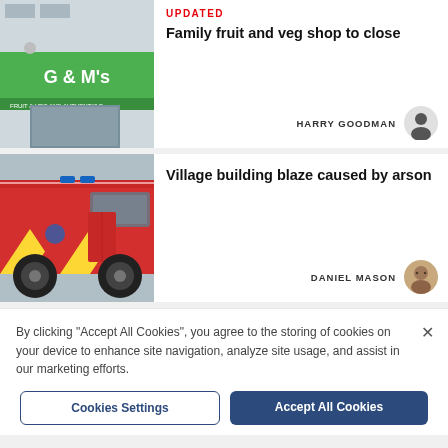[Figure (photo): G & M's fruit and veg shop front with green sign]
UPDATED
Family fruit and veg shop to close
HARRY GOODMAN
[Figure (photo): Red fire engine/truck close-up]
Village building blaze caused by arson
DANIEL MASON
By clicking "Accept All Cookies", you agree to the storing of cookies on your device to enhance site navigation, analyze site usage, and assist in our marketing efforts.
Cookies Settings
Accept All Cookies